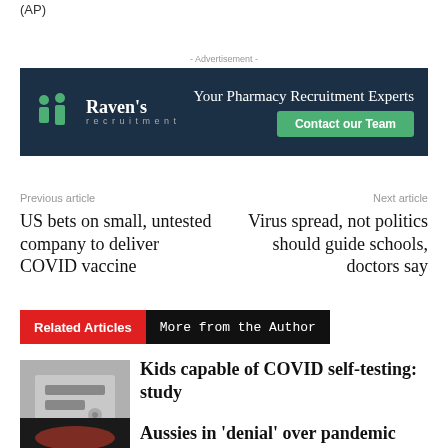(AP)
- Advertisement -
[Figure (illustration): Raven's Recruitment advertisement banner. Dark navy background with green person icons, 'Raven's recruitment' branding, cursive tagline 'Your Pharmacy Recruitment Experts', and green 'Contact our Team' button.]
Previous article
Next article
US bets on small, untested company to deliver COVID vaccine
Virus spread, not politics should guide schools, doctors say
Related Articles  More from the Author
[Figure (photo): Photo of a SARS-CoV-2 Antigen Rapid Test with 'Health' label overlay.]
Kids capable of COVID self-testing: study
[Figure (photo): Dark photo, partial view.]
Aussies in 'denial' over pandemic